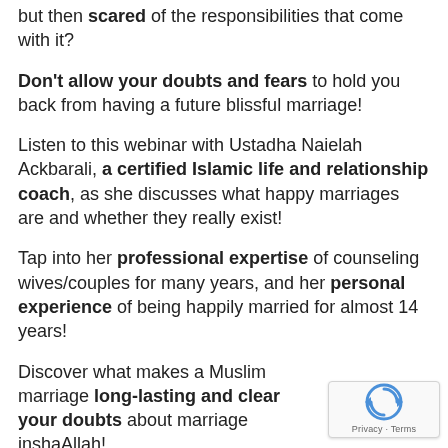but then scared of the responsibilities that come with it?
Don't allow your doubts and fears to hold you back from having a future blissful marriage!
Listen to this webinar with Ustadha Naielah Ackbarali, a certified Islamic life and relationship coach, as she discusses what happy marriages are and whether they really exist!
Tap into her professional expertise of counseling wives/couples for many years, and her personal experience of being happily married for almost 14 years!
Discover what makes a Muslim marriage long-lasting and clear your doubts about marriage inshaAllah!